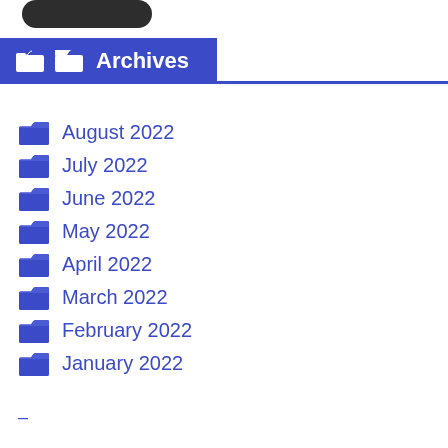[Figure (other): Dark rounded button/pill shape at top of page]
Archives
August 2022
July 2022
June 2022
May 2022
April 2022
March 2022
February 2022
January 2022
–